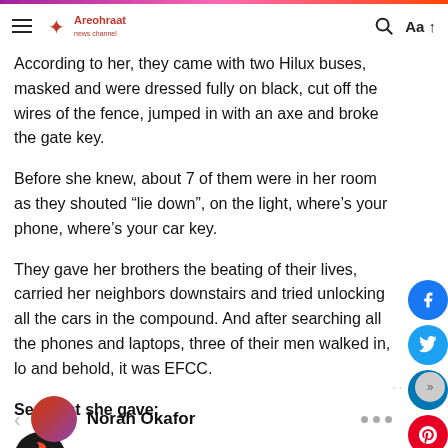Areohraat news header with hamburger menu, logo, search and font size controls
According to her, they came with two Hilux buses, masked and were dressed fully on black, cut off the wires of the fence, jumped in with an axe and broke the gate key.
Before she knew, about 7 of them were in her room as they shouted “lie down”, on the light, where’s your phone, where’s your car key.
They gave her brothers the beating of their lives, carried her neighbors downstairs and tried unlocking all the cars in the compound. And after searching all the phones and laptops, three of their men walked in, lo and behold, it was EFCC.
See post she gave:
[Figure (illustration): Fire emoji avatar in dark circle]
Norah Okafor